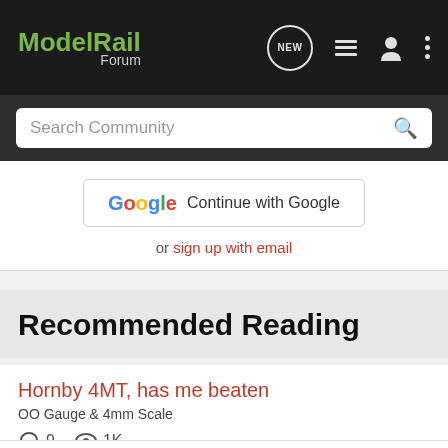ModelRail Forum
Search Community
Continue with Google
or sign up with email
Recommended Reading
Hornby 4MT, has me beaten
OO Gauge & 4mm Scale
9 comments · 1K views
kristopher1805 · updated Aug 12, 2014